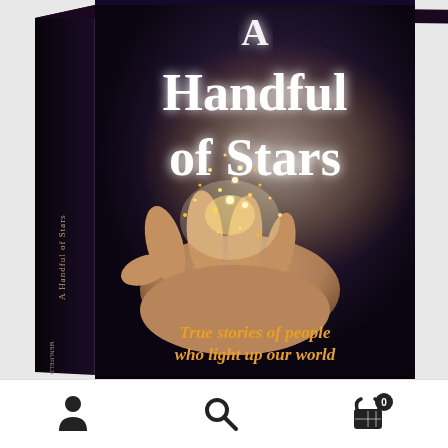[Figure (photo): Book cover of 'A Handful of Stars' showing a 3D book with a dark background, a hand holding glowing stars/sparks, title text 'A Handful of Stars' in large white serif font, subtitle 'True stories of people who light up our world' in golden/orange italic text. The book spine shows 'A Handful of Stars' vertically and publisher name 'MENUFELD' at the bottom.]